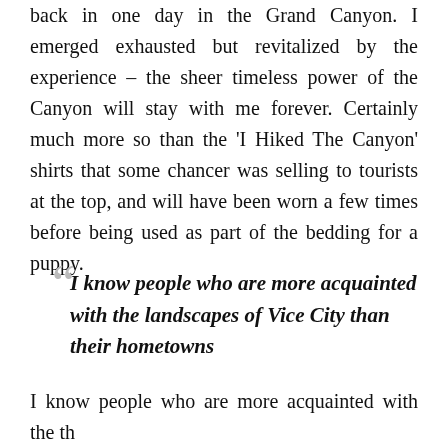back in one day in the Grand Canyon. I emerged exhausted but revitalized by the experience – the sheer timeless power of the Canyon will stay with me forever. Certainly much more so than the 'I Hiked The Canyon' shirts that some chancer was selling to tourists at the top, and will have been worn a few times before being used as part of the bedding for a puppy.
I know people who are more acquainted with the landscapes of Vice City than their hometowns
I know people who are more acquainted with the...